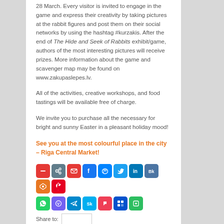28 March. Every visitor is invited to engage in the game and express their creativity by taking pictures at the rabbit figures and post them on their social networks by using the hashtag #kurzakis. After the end of The Hide and Seek of Rabbits exhibit/game, authors of the most interesting pictures will receive prizes. More information about the game and scavenger map may be found on www.zakupaslepes.lv.
All of the activities, creative workshops, and food tastings will be available free of charge.
We invite you to purchase all the necessary for bright and sunny Easter in a pleasant holiday mood!
See you at the most colourful place in the city – Riga Central Market!
[Figure (other): Row of social media share icons: minus/reduce, link, email, facebook, messenger, twitter, linkedin, vk, slideshare, pinterest, whatsapp, viber, telegram, skype, pocket, trello, evernote]
Share to: